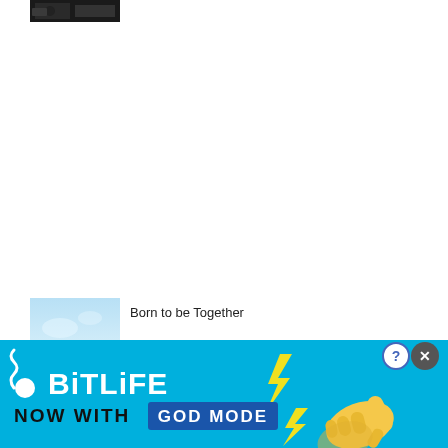[Figure (photo): Small dark thumbnail image at top left, appears to be a scene with people or vehicles in low light]
[Figure (illustration): Manga/anime style book cover thumbnail showing a sky-blue background with pink floral text logo, title 'Born to be Together']
Born to be Together
[Figure (infographic): BitLife advertisement banner with cyan blue background showing BitLife logo with sperm icon, text 'NOW WITH GOD MODE', animated hand pointing right, close and help buttons]